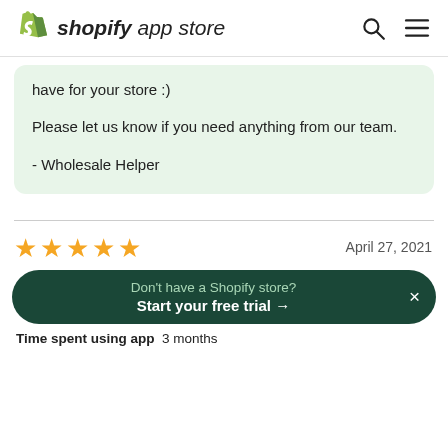shopify app store
have for your store :)

Please let us know if you need anything from our team.

- Wholesale Helper
[Figure (other): Five gold stars rating]
April 27, 2021
Don't have a Shopify store? Start your free trial →
Time spent using app  3 months